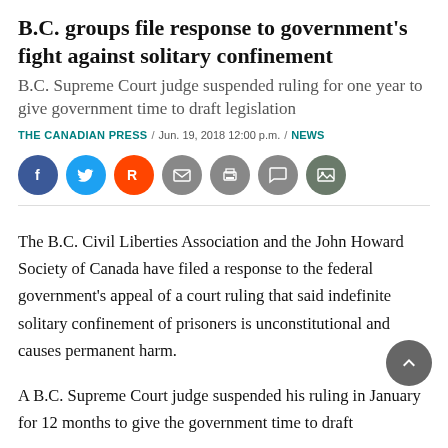B.C. groups file response to government's fight against solitary confinement
B.C. Supreme Court judge suspended ruling for one year to give government time to draft legislation
THE CANADIAN PRESS / Jun. 19, 2018 12:00 p.m. / NEWS
[Figure (infographic): Social share buttons: Facebook, Twitter, Reddit, Email, Print, Comment, Gallery]
The B.C. Civil Liberties Association and the John Howard Society of Canada have filed a response to the federal government's appeal of a court ruling that said indefinite solitary confinement of prisoners is unconstitutional and causes permanent harm.
A B.C. Supreme Court judge suspended his ruling in January for 12 months to give the government time to draft